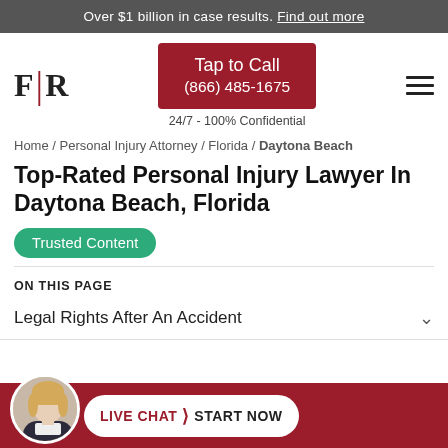Over $1 billion in case results. Find out more
[Figure (logo): F|R law firm logo with red vertical bar divider]
[Figure (other): Tap to Call button (866) 485-1675, 24/7 - 100% Confidential]
[Figure (other): Hamburger menu icon]
Home / Personal Injury Attorney / Florida / Daytona Beach
Top-Rated Personal Injury Lawyer In Daytona Beach, Florida
Trusted Content
ON THIS PAGE
Legal Rights After An Accident
[Figure (photo): Photo of a blonde woman attorney in a suit, circular cropped, in the live chat bottom bar]
LIVE CHAT › START NOW